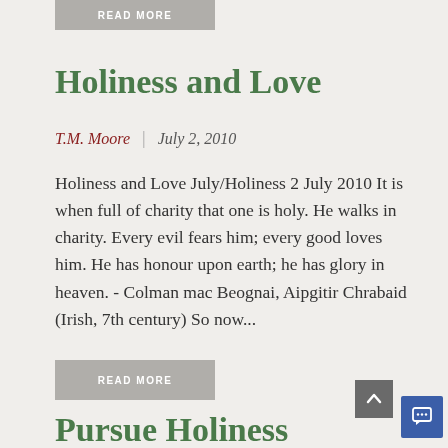READ MORE
Holiness and Love
T.M. Moore  |  July 2, 2010
Holiness and Love July/Holiness 2 July 2010 It is when full of charity that one is holy. He walks in charity. Every evil fears him; every good loves him. He has honour upon earth; he has glory in heaven. - Colman mac Beognai, Aipgitir Chrabaid (Irish, 7th century) So now...
READ MORE
Pursue Holiness